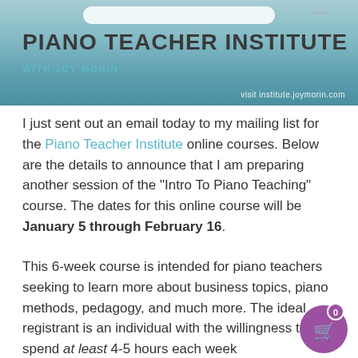[Figure (illustration): Piano Teacher Institute banner with teal/blue gradient background, white pill-shaped search bar at top, large bold dark title 'PIANO TEACHER INSTITUTE', teal subtitle 'WITH JOY MORIN', and URL 'visit institute.joymorin.com' at bottom right]
I just sent out an email today to my mailing list for the Piano Teacher Institute online courses. Below are the details to announce that I am preparing another session of the “Intro To Piano Teaching” course. The dates for this online course will be January 5 through February 16.
This 6-week course is intended for piano teachers seeking to learn more about business topics, piano methods, pedagogy, and much more. The ideal registrant is an individual with the willingness to spend at least 4-5 hours each week reading/studying the weekly topics and interacting with other registrants in forums and video chat.